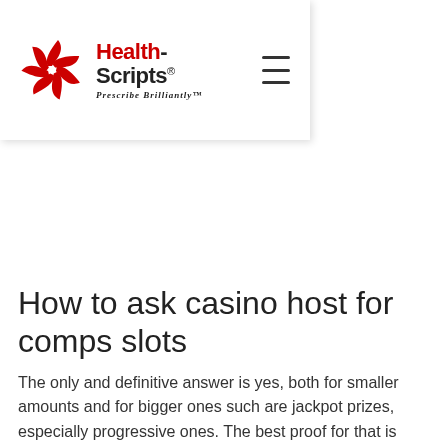[Figure (logo): Health-Scripts logo with red pinwheel icon and tagline 'Prescribe Brilliantly', plus hamburger menu icon]
How to ask casino host for comps slots
The only and definitive answer is yes, both for smaller amounts and for bigger ones such are jackpot prizes, especially progressive ones. The best proof for that is